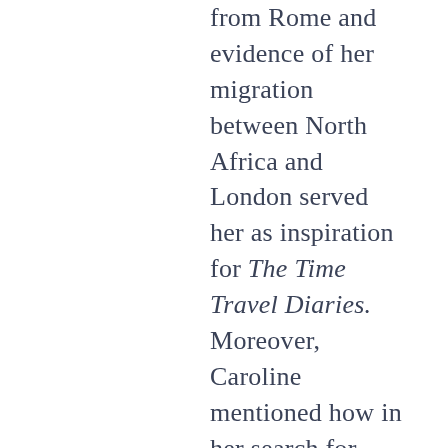from Rome and evidence of her migration between North Africa and London served her as inspiration for The Time Travel Diaries. Moreover, Caroline mentioned how in her search for details, which would make her stories more realistic, she needs to experiment and explore re-enacted world of the past with all five senses. For example, she told us how with a replica of an oil lamp, she could examine the amount of light it emits in the dark, how flexible can a person be with such an object in hand or even the fact that she can get a headache from the smell of the lamp after some time. All these details are then implemented into the adventures of her book